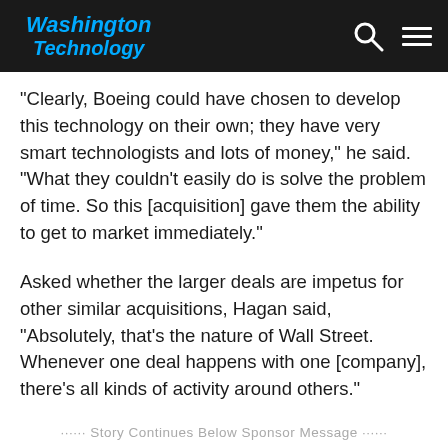Washington Technology
“Clearly, Boeing could have chosen to develop this technology on their own; they have very smart technologists and lots of money,” he said. “What they couldn’t easily do is solve the problem of time. So this [acquisition] gave them the ability to get to market immediately.”
Asked whether the larger deals are impetus for other similar acquisitions, Hagan said, “Absolutely, that’s the nature of Wall Street. Whenever one deal happens with one [company], there’s all kinds of activity around others.”
······ Story Continues Below Sponsor Message ······